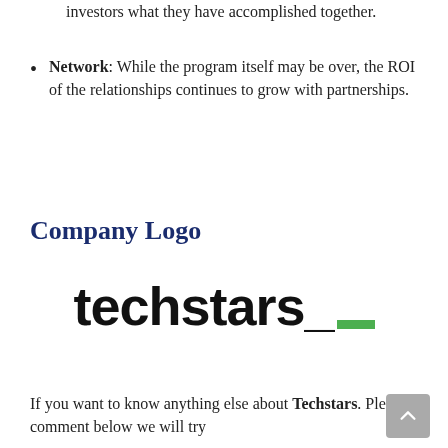investors what they have accomplished together.
Network: While the program itself may be over, the ROI of the relationships continues to grow with partnerships.
Company Logo
[Figure (logo): Techstars logo — bold black sans-serif text 'techstars_' with a green rectangle accent at the bottom right of the underscore]
If you want to know anything else about Techstars. Please comment below we will try